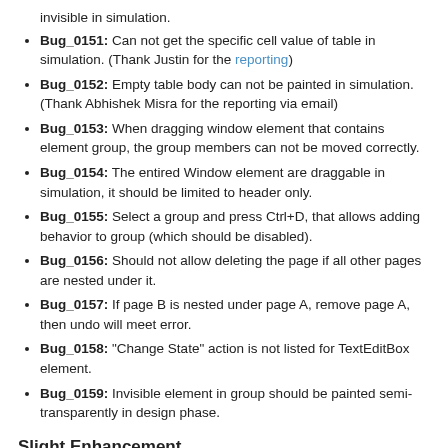invisible in simulation.
Bug_0151: Can not get the specific cell value of table in simulation. (Thank Justin for the reporting)
Bug_0152: Empty table body can not be painted in simulation. (Thank Abhishek Misra for the reporting via email)
Bug_0153: When dragging window element that contains element group, the group members can not be moved correctly.
Bug_0154: The entired Window element are draggable in simulation, it should be limited to header only.
Bug_0155: Select a group and press Ctrl+D, that allows adding behavior to group (which should be disabled).
Bug_0156: Should not allow deleting the page if all other pages are nested under it.
Bug_0157: If page B is nested under page A, remove page A, then undo will meet error.
Bug_0158: "Change State" action is not listed for TextEditBox element.
Bug_0159: Invisible element in group should be painted semi-transparently in design phase.
Slight Enhancement
This version also include a slight enhancement: move the “From Image File…” menu item to top when choosing image.  This is requested by